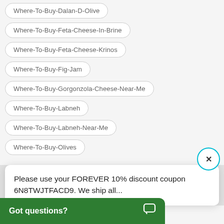Where-To-Buy-Dalan-D-Olive
Where-To-Buy-Feta-Cheese-In-Brine
Where-To-Buy-Feta-Cheese-Krinos
Where-To-Buy-Fig-Jam
Where-To-Buy-Gorgonzola-Cheese-Near-Me
Where-To-Buy-Labneh
Where-To-Buy-Labneh-Near-Me
Where-To-Buy-Olives
Please use your FOREVER 10% discount coupon 6N8TWJTFACD9. We ship all...
...Near-Me
...ot
Got questions?